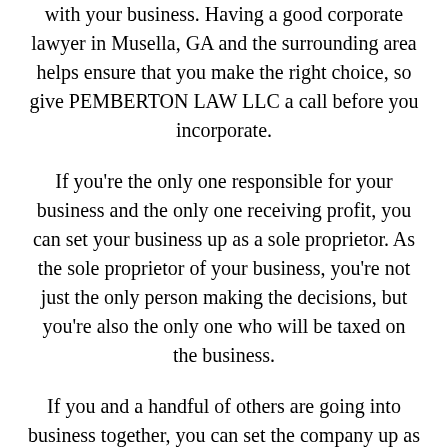with your business. Having a good corporate lawyer in Musella, GA and the surrounding area helps ensure that you make the right choice, so give PEMBERTON LAW LLC a call before you incorporate.
If you're the only one responsible for your business and the only one receiving profit, you can set your business up as a sole proprietor. As the sole proprietor of your business, you're not just the only person making the decisions, but you're also the only one who will be taxed on the business.
If you and a handful of others are going into business together, you can set the company up as a partnership. In a partnership in Georgia, you and your partners won't pay taxes on income, but you will be taxed on profits. Each of the partners is also accountable for the debts that the business incurs, as well as for the outcomes of the decisions the partners